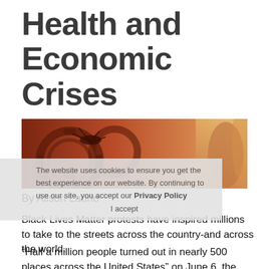Health and Economic Crises
[Figure (illustration): Illustration showing mechanical gears and an insect (mosquito or similar) in warm red-orange tones, representing a health and economic crisis theme.]
By Alison Laurio
Black Lives Matter protests have inspired millions to take to the streets across the country-and across the world.
“Half a million people turned out in nearly 500 places across the United States” on June 6, the New York Times stated in